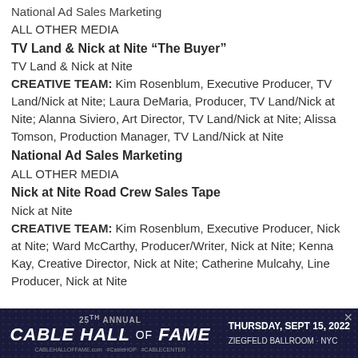National Ad Sales Marketing
ALL OTHER MEDIA
TV Land & Nick at Nite “The Buyer”
TV Land & Nick at Nite
CREATIVE TEAM: Kim Rosenblum, Executive Producer, TV Land/Nick at Nite; Laura DeMaria, Producer, TV Land/Nick at Nite; Alanna Siviero, Art Director, TV Land/Nick at Nite; Alissa Tomson, Production Manager, TV Land/Nick at Nite
National Ad Sales Marketing
ALL OTHER MEDIA
Nick at Nite Road Crew Sales Tape
Nick at Nite
CREATIVE TEAM: Kim Rosenblum, Executive Producer, Nick at Nite; Ward McCarthy, Producer/Writer, Nick at Nite; Kenna Kay, Creative Director, Nick at Nite; Catherine Mulcahy, Line Producer, Nick at Nite
[Figure (infographic): 25th Annual Cable Hall of Fame advertisement banner. Thursday, Sept 15, 2022, Ziegfeld Ballroom, NYC. Dark blue background with dot pattern.]